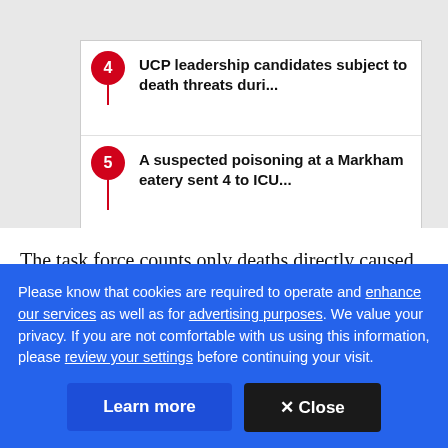4 UCP leadership candidates subject to death threats duri...
5 A suspected poisoning at a Markham eatery sent 4 to ICU...
The task force counts only deaths directly caused by the virus. The state statistics service Rosstat, which
Please know that cookies are required to operate and enhance our services as well as for advertising purposes. We value your privacy. If you are not comfortable with us using this information, please review your settings before continuing your visit.
Learn more
✕ Close